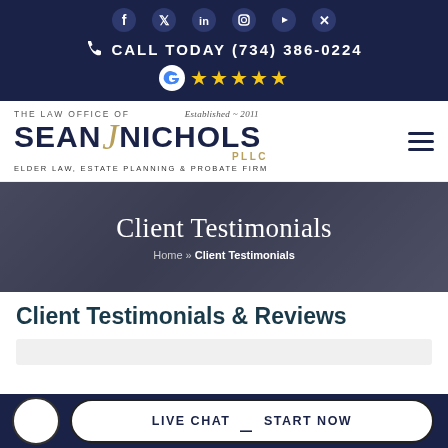[Figure (screenshot): Social media icons (Facebook, Twitter, LinkedIn, Instagram, YouTube, X) in dark navy bar]
CALL TODAY (734) 386-0224
[Figure (other): Google logo with 5 gold stars rating]
[Figure (logo): The Law Office of Sean J Nichols PLLC - Elder Law, Estate Planning & Probate Firm. Established 2011]
Client Testimonials
Home » Client Testimonials
Client Testimonials & Reviews
LIVE CHAT  START NOW